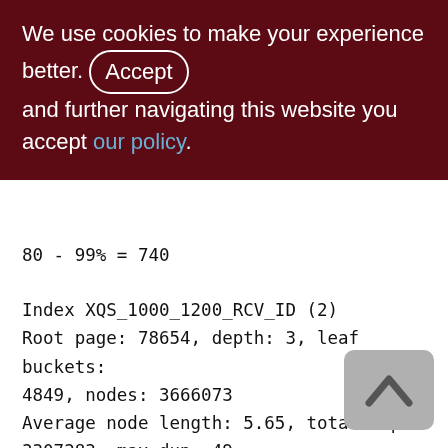We use cookies to make your experience better. By accepting and further navigating this website you accept our policy.
80 - 99% = 740

Index XQS_1000_1200_RCV_ID (2)
Root page: 78654, depth: 3, leaf buckets: 4849, nodes: 3666073
Average node length: 5.65, total dup: 3307283, max dup: 49
Average key length: 2.67, compression ratio: 3.37
Average prefix length: 8.43, average data length: 0.57
Clustering factor: 579895, ratio: 0.16